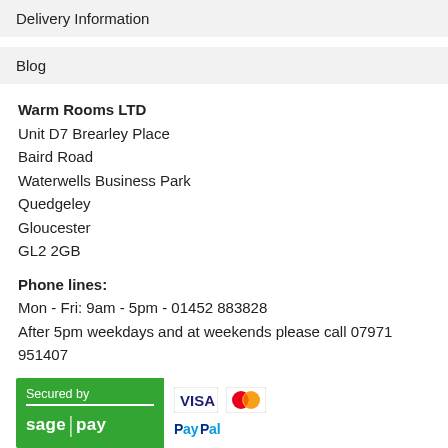Delivery Information
Blog
Warm Rooms LTD
Unit D7 Brearley Place
Baird Road
Waterwells Business Park
Quedgeley
Gloucester
GL2 2GB
Phone lines:
Mon - Fri: 9am - 5pm - 01452 883828
After 5pm weekdays and at weekends please call 07971 951407
Showroom hours:
Mon - Fri: 9am - 5pm
Sat - Sun: By appointment only
[Figure (logo): Secured by Sage Pay banner with Visa, Mastercard, and PayPal payment logos]